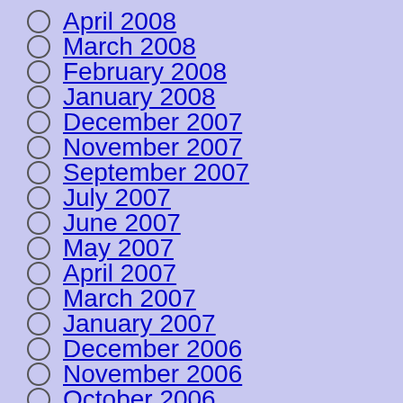April 2008
March 2008
February 2008
January 2008
December 2007
November 2007
September 2007
July 2007
June 2007
May 2007
April 2007
March 2007
January 2007
December 2006
November 2006
October 2006